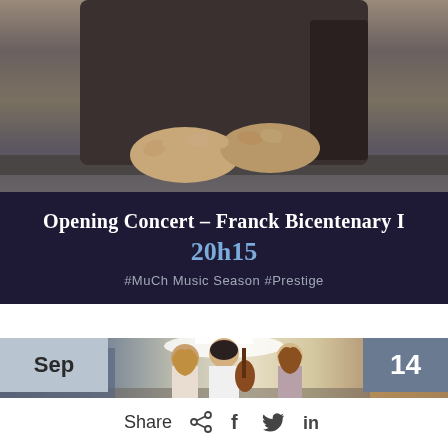[Figure (photo): Close-up of a person's clasped hands resting on a surface, wearing dark patterned clothing, sitting in front of a grey wall.]
Opening Concert – Franck Bicentenary I
20h15
#MuCh Music Season  #Prestige
[Figure (photo): Three young musicians seen from behind in a corridor, two holding string instruments (cellos/violins), walking through a lit hallway.]
Sep
14
Share